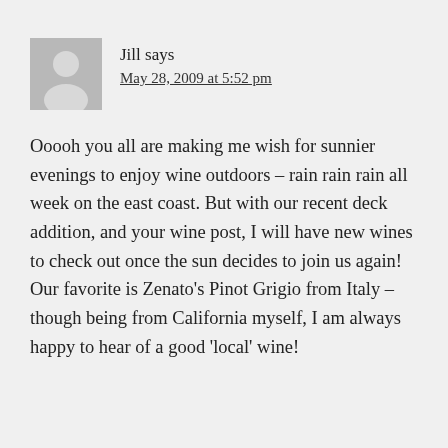Jill says
May 28, 2009 at 5:52 pm
Ooooh you all are making me wish for sunnier evenings to enjoy wine outdoors – rain rain rain all week on the east coast. But with our recent deck addition, and your wine post, I will have new wines to check out once the sun decides to join us again! Our favorite is Zenato's Pinot Grigio from Italy – though being from California myself, I am always happy to hear of a good 'local' wine!